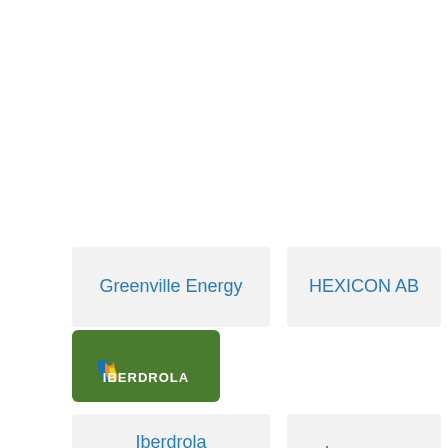[Figure (logo): Greenville Energy text logo card with blue text on light gray background]
[Figure (logo): HEXICON AB text logo card with blue text on light gray background]
[Figure (logo): Iberdrola corporate logo with green background, flame icon and IBERDROLA text]
[Figure (logo): Iberdrola Renovables text logo card with blue text on light gray background]
[Figure (logo): Invenergy text logo card with blue text on light gray background]